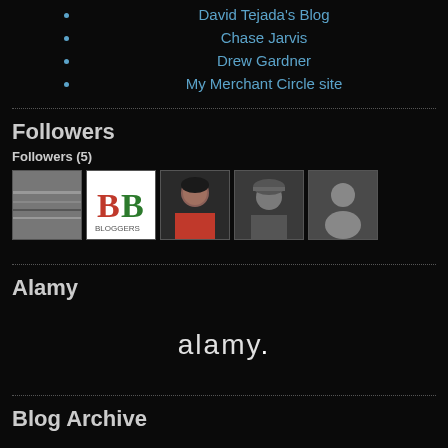David Tejada's Blog
Chase Jarvis
Drew Gardner
My Merchant Circle site
Followers
Followers (5)
[Figure (photo): Five follower avatar thumbnails in a row]
Alamy
[Figure (logo): Alamy logo text in white on dark background]
Blog Archive